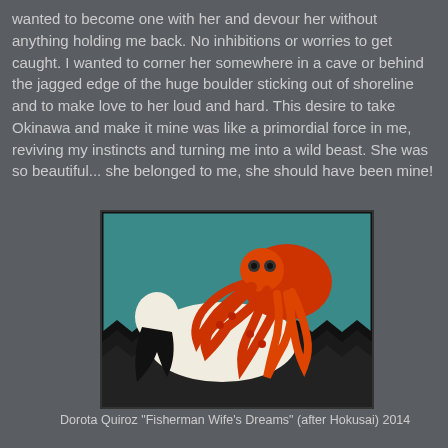wanted to become one with her and devour her without anything holding me back. No inhibitions or worries to get caught. I wanted to corner her somewhere in a cave or behind the jagged edge of the huge boulder sticking out of shoreline and to make love to her loud and hard. This desire to take Okinawa and make it mine was like a primordial force in me, reviving my instincts and turning me into a wild beast. She was so beautiful... she belonged to me, she should have been mine!
[Figure (photo): A painting depicting a reclining woman with an octopus, rendered in a Japanese woodblock print style with bold red, black, white, and teal colors.]
Dorota Quiroz "Fisherman Wife's Dreams" (after Hokusai) 2014